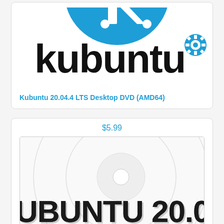[Figure (logo): Kubuntu logo - blue circle with white K symbol at top, large 'kubuntu' text in black with blue gear/settings icon trademark symbol to the right]
Kubuntu 20.04.4 LTS Desktop DVD (AMD64)
$5.99
[Figure (photo): DVD disc image showing 'UBUNTU 20.04' text in large bold black letters with drop shadow on a white/light grey disc background with concentric circle rings]